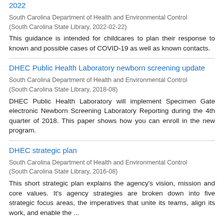2022
South Carolina Department of Health and Environmental Control
(South Carolina State Library, 2022-02-22)
This guidance is intended for childcares to plan their response to known and possible cases of COVID-19 as well as known contacts.
DHEC Public Health Laboratory newborn screening update
South Carolina Department of Health and Environmental Control
(South Carolina State Library, 2018-08)
DHEC Public Health Laboratory will implement Specimen Gate electronic Newborn Screening Laboratory Reporting during the 4th quarter of 2018. This paper shows how you can enroll in the new program.
DHEC strategic plan
South Carolina Department of Health and Environmental Control
(South Carolina State Library, 2016-08)
This short strategic plan explains the agency's vision, mission and core values. It's agency strategies are broken down into five strategic focus areas, the imperatives that unite its teams, align its work, and enable the ...